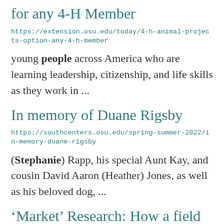for any 4-H Member
https://extension.osu.edu/today/4-h-animal-projects-option-any-4-h-member
young people across America who are learning leadership, citizenship, and life skills as they work in ...
In memory of Duane Rigsby
https://southcenters.osu.edu/spring-summer-2022/in-memory-duane-rigsby
(Stephanie) Rapp, his special Aunt Kay, and cousin David Aaron (Heather) Jones, as well as his beloved dog, ...
‘Market’ Research: How a field trip